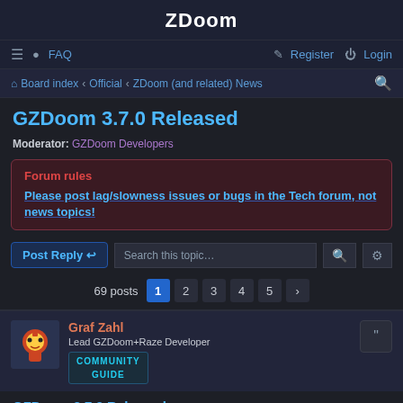ZDoom
≡  FAQ    Register  Login
Board index  ‹  Official  ‹  ZDoom (and related) News
GZDoom 3.7.0 Released
Moderator: GZDoom Developers
Forum rules
Please post lag/slowness issues or bugs in the Tech forum, not news topics!
Post Reply   Search this topic...
69 posts  1  2  3  4  5  >
Graf Zahl
Lead GZDoom+Raze Developer
COMMUNITY GUIDE
GZDoom 3.7.0 Released
Thu Dec 27, 2018 8:01 am